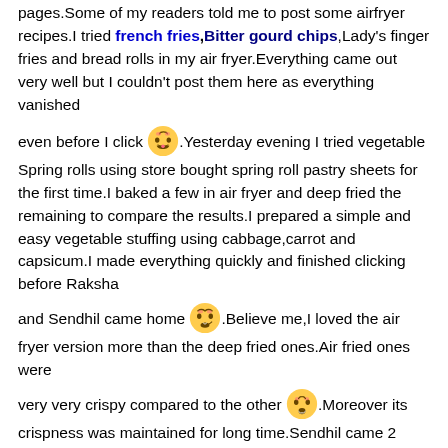pages.Some of my readers told me to post some airfryer recipes.I tried french fries,Bitter gourd chips,Lady's finger fries and bread rolls in my air fryer.Everything came out very well but I couldn't post them here as everything vanished even before I click [emoji].Yesterday evening I tried vegetable Spring rolls using store bought spring roll pastry sheets for the first time.I baked a few in air fryer and deep fried the remaining to compare the results.I prepared a simple and easy vegetable stuffing using cabbage,carrot and capsicum.I made everything quickly and finished clicking before Raksha and Sendhil came home [emoji].Believe me,I loved the air fryer version more than the deep fried ones.Air fried ones were very very crispy compared to the other [emoji].Moreover its crispness was maintained for long time.Sendhil came 2 hours after I made the spring rolls.Even then they were crispy.I think you can make the same using convection oven too.